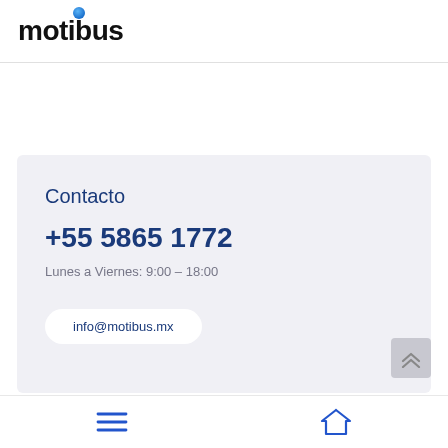[Figure (logo): Motibus logo: black bold text 'motibus' with a blue dot above the letter 'i']
Contacto
+55 5865 1772
Lunes a Viernes: 9:00 – 18:00
info@motibus.mx
[Figure (other): Scroll-to-top button with double up-arrow chevron icon, grey background]
[Figure (other): Bottom navigation bar with hamburger menu icon (blue) on left and home icon (blue outline) on right]